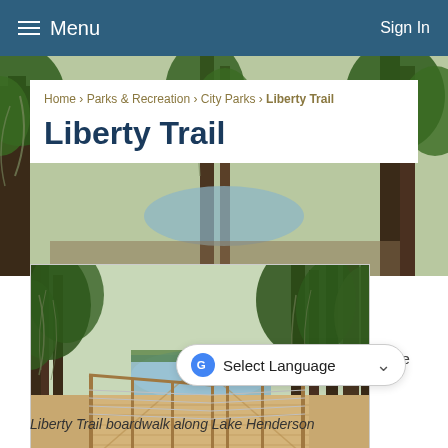Menu   Sign In
Home › Parks & Recreation › City Parks › Liberty Trail
Liberty Trail
[Figure (photo): A wooden boardwalk with cable railings stretching along Lake Henderson surrounded by large cypress trees draped with Spanish moss and lush green foliage.]
The
Liberty Trail boardwalk along Lake Henderson